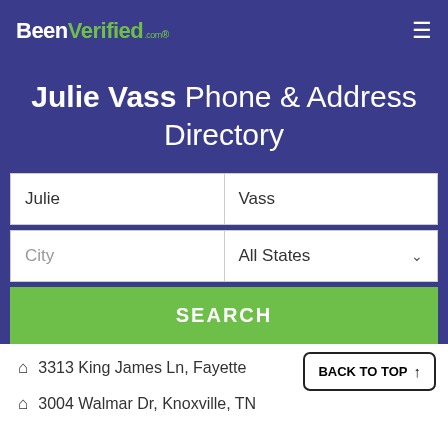BeenVerified.com
Julie Vass Phone & Address Directory
Julie | Vass | City | All States | SEARCH
3313 King James Ln, Fayette...
3004 Walmar Dr, Knoxville, TN
BACK TO TOP ↑